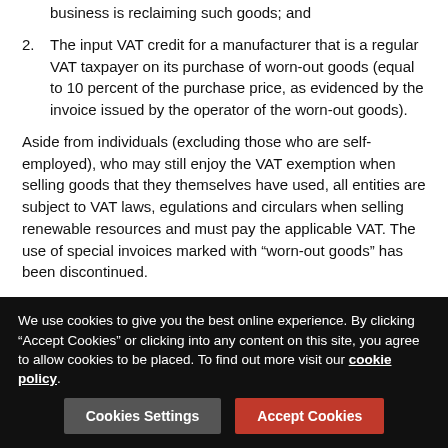reclaimed from out goods by enterprises whose business is reclaiming such goods; and
2. The input VAT credit for a manufacturer that is a regular VAT taxpayer on its purchase of worn-out goods (equal to 10 percent of the purchase price, as evidenced by the invoice issued by the operator of the worn-out goods).
Aside from individuals (excluding those who are self-employed), who may still enjoy the VAT exemption when selling goods that they themselves have used, all entities are subject to VAT laws, egulations and circulars when selling renewable resources and must pay the applicable VAT. The use of special invoices marked with “worn-out goods” has been discontinued.
Under the Circular, from the beginning of 2009 to the end of 2010, qualified regular VAT taxpayers are entitled to the
We use cookies to give you the best online experience. By clicking “Accept Cookies” or clicking into any content on this site, you agree to allow cookies to be placed. To find out more visit our cookie policy.